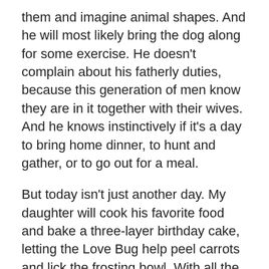them and imagine animal shapes. And he will most likely bring the dog along for some exercise. He doesn't complain about his fatherly duties, because this generation of men know they are in it together with their wives. And he knows instinctively if it's a day to bring home dinner, to hunt and gather, or to go out for a meal.
But today isn't just another day. My daughter will cook his favorite food and bake a three-layer birthday cake, letting the Love Bug help peel carrots and lick the frosting bowl. With all the stress of the past few weeks, I hope he gets to kick off his shoes and dance a little bit tonight – pick up his guitar and unwind, put the Baby on the keyboard and give the Bug a harmonica.
Because today we are all thankful you were born. Much love on your birthday, and thank you for being an